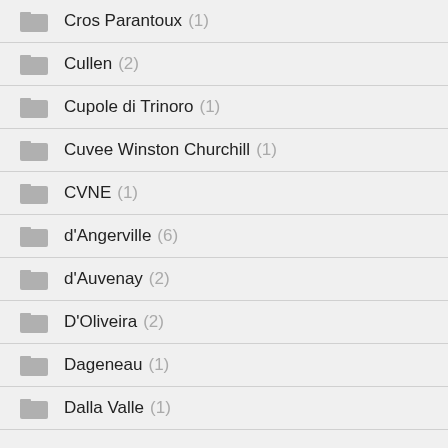Cros Parantoux (1)
Cullen (2)
Cupole di Trinoro (1)
Cuvee Winston Churchill (1)
CVNE (1)
d'Angerville (6)
d'Auvenay (2)
D'Oliveira (2)
Dageneau (1)
Dalla Valle (1)